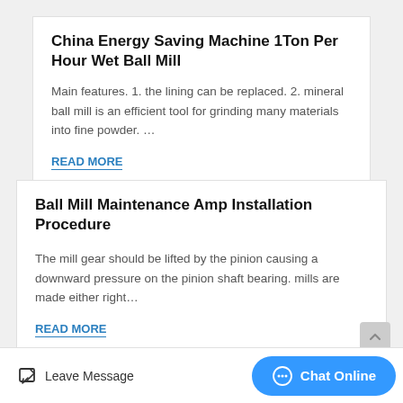China Energy Saving Machine 1Ton Per Hour Wet Ball Mill
Main features. 1. the lining can be replaced. 2. mineral ball mill is an efficient tool for grinding many materials into fine powder. …
READ MORE
Ball Mill Maintenance Amp Installation Procedure
The mill gear should be lifted by the pinion causing a downward pressure on the pinion shaft bearing. mills are made either right…
READ MORE
Cement Ball Mill Jxsc Machine
Leave Message  Chat Online